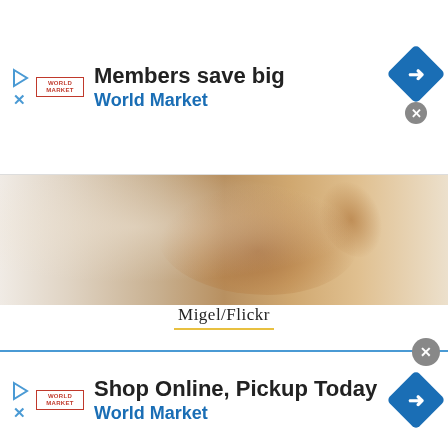[Figure (screenshot): Top World Market advertisement banner: 'Members save big / World Market' with play icon, close X, logo, and blue diamond navigation icon on right]
[Figure (photo): Horizontal food photo banner showing broken walnuts or similar nuts on a light wooden surface]
Migel/Flickr
[Figure (screenshot): Purple advertisement box for OneGreenPlanet with text: SUPPORT OneGreenPlanet, Being publicly funded gives us a greater]
[Figure (screenshot): Bottom World Market advertisement banner: 'Shop Online, Pickup Today / World Market' with play icon, close X, logo, and blue diamond navigation icon on right]